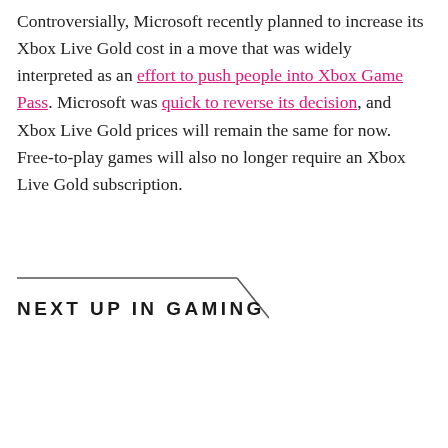Controversially, Microsoft recently planned to increase its Xbox Live Gold cost in a move that was widely interpreted as an effort to push people into Xbox Game Pass. Microsoft was quick to reverse its decision, and Xbox Live Gold prices will remain the same for now. Free-to-play games will also no longer require an Xbox Live Gold subscription.
NEXT UP IN GAMING